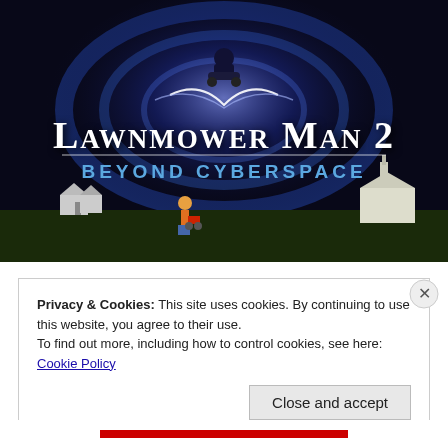[Figure (illustration): Movie poster for 'Lawnmower Man 2: Beyond Cyberspace'. Dark background with blue and purple swirling cyberspace vortex, silhouette of person on lawnmower in center top, man mowing lawn at bottom left with small houses on grass, church building at bottom right. Title text 'LAWNMOWER MAN 2' in large serif font and 'BEYOND CYBERSPACE' in blue spaced caps below.]
Privacy & Cookies: This site uses cookies. By continuing to use this website, you agree to their use.
To find out more, including how to control cookies, see here: Cookie Policy